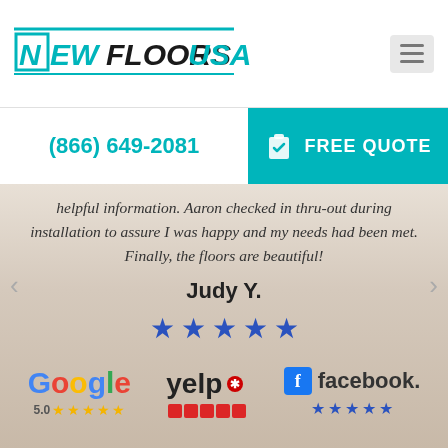[Figure (logo): NewFloorsUSA logo with teal/cyan colored text and hamburger menu icon]
(866) 649-2081
FREE QUOTE
helpful information. Aaron checked in thru-out during installation to assure I was happy and my needs had been met. Finally, the floors are beautiful!
Judy Y.
[Figure (illustration): Five blue star rating icons]
[Figure (logo): Google logo with 5.0 star rating below]
[Figure (logo): Yelp logo with five red square star rating below]
[Figure (logo): Facebook logo with blue star rating below]